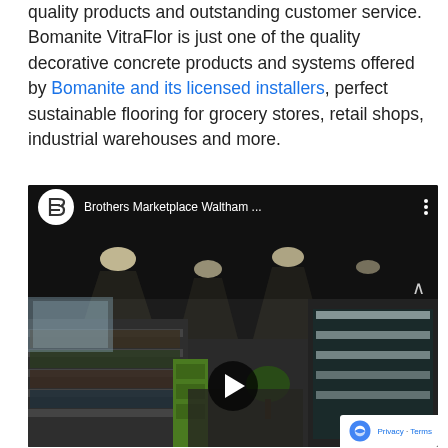quality products and outstanding customer service. Bomanite VitraFlor is just one of the quality decorative concrete products and systems offered by Bomanite and its licensed installers, perfect sustainable flooring for grocery stores, retail shops, industrial warehouses and more.
[Figure (screenshot): YouTube video embed showing 'Brothers Marketplace Waltham ...' with a grocery store interior thumbnail, play button, and reCAPTCHA badge]